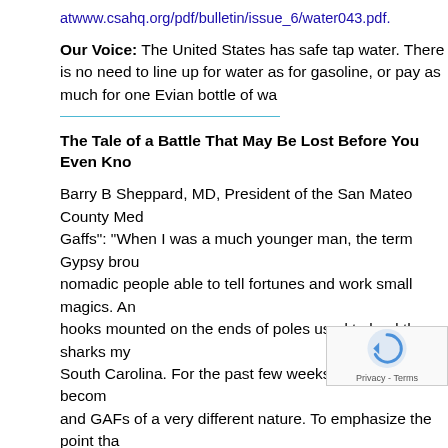atwww.csahq.org/pdf/bulletin/issue_6/water043.pdf.
Our Voice: The United States has safe tap water. There is no need to line up for water as for gasoline, or pay as much for one Evian bottle of wa...
The Tale of a Battle That May Be Lost Before You Even Kno...
Barry B Sheppard, MD, President of the San Mateo County Me... Gaffs": "When I was a much younger man, the term Gypsy brou... nomadic people able to tell fortunes and work small magics. An... hooks mounted on the ends of poles used to land the sharks my... South Carolina. For the past few weeks, however, I have becom... and GAFs of a very different nature. To emphasize the point tha... account of the situation as well as to allow for some blurring of t... tale to paper in the form of a Grimm's fairy tale—the grim part b...
"Once upon a time, about seven years ago, a wicked Queen, la... and Medicaid Services, sent out a decree across the fair land o... regions on the basis of similar expenses incurred in p... for, to some extent, widely varying office rents, emplo... the state. Each resulting Locality would then be assig... had the power to transform itself into a GAF (Geographic Adju...